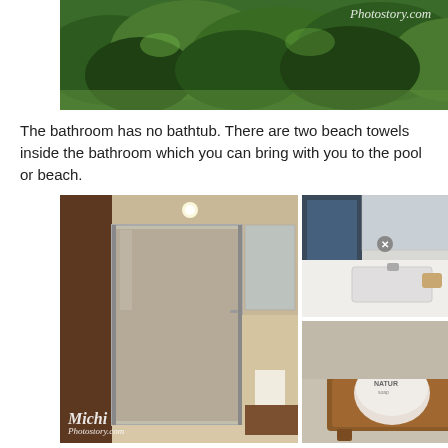[Figure (photo): Aerial/top view of green trees and water, partial view at top of page with Michi Photostory.com watermark]
The bathroom has no bathtub. There are two beach towels inside the bathroom which you can bring with you to the pool or beach.
[Figure (photo): Collage of three bathroom photos: left shows glass shower enclosure, top-right shows bathroom vanity with sink and blue striped towels, bottom-right shows toiletries on wooden tray with Natur branding. Michi Photostory.com watermark on left photo.]